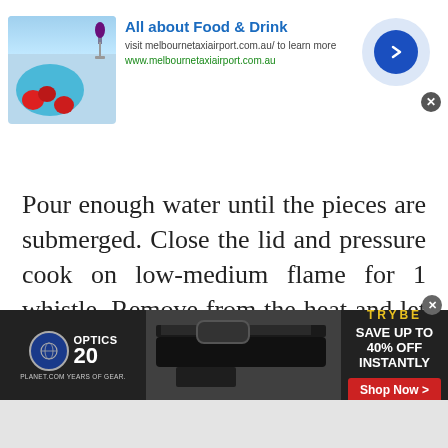[Figure (screenshot): Top advertisement banner: 'All about Food & Drink' with food image showing plate with tomatoes and wine glass, arrow button on right, URL melbournetaxiairport.com.au]
Pour enough water until the pieces are submerged. Close the lid and pressure cook on low-medium flame for 1 whistle. Remove from the heat and let the pressure settle down. Drain the water completely and keep those cooked pieces aside.
To Make the Masala Paste:
[Figure (screenshot): Bottom advertisement banner: Optics Planet 20 years logo on left, gun scope image in center, Tribe logo with 'SAVE UP TO 40% OFF INSTANTLY' and 'Shop Now >' button on right]